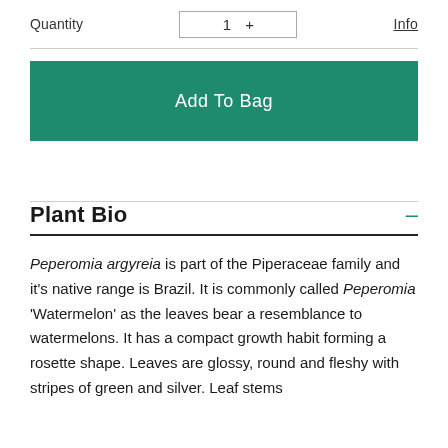Quantity  1 +  Info
Add To Bag
Plant Bio
Peperomia argyreia is part of the Piperaceae family and it's native range is Brazil. It is commonly called Peperomia 'Watermelon' as the leaves bear a resemblance to watermelons. It has a compact growth habit forming a rosette shape. Leaves are glossy, round and fleshy with stripes of green and silver. Leaf stems